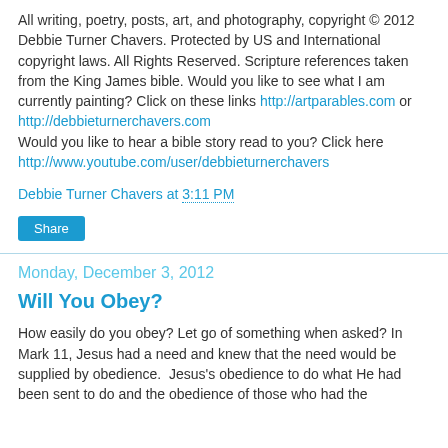All writing, poetry, posts, art, and photography, copyright © 2012 Debbie Turner Chavers. Protected by US and International copyright laws. All Rights Reserved. Scripture references taken from the King James bible. Would you like to see what I am currently painting? Click on these links http://artparables.com or http://debbieturnerchavers.com Would you like to hear a bible story read to you? Click here http://www.youtube.com/user/debbieturnerchavers
Debbie Turner Chavers at 3:11 PM
Share
Monday, December 3, 2012
Will You Obey?
How easily do you obey? Let go of something when asked? In Mark 11, Jesus had a need and knew that the need would be supplied by obedience.  Jesus's obedience to do what He had been sent to do and the obedience of those who had the